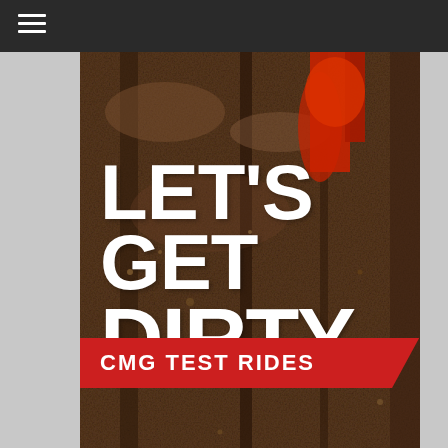[Figure (photo): Muddy off-road motorcycle riding scene with dirt splashing, showing a rider on a red dirt bike. Large bold white text reads LET'S GET DIRTY. A red banner at the bottom reads CMG TEST RIDES.]
LET'S GET DIRTY.
CMG TEST RIDES